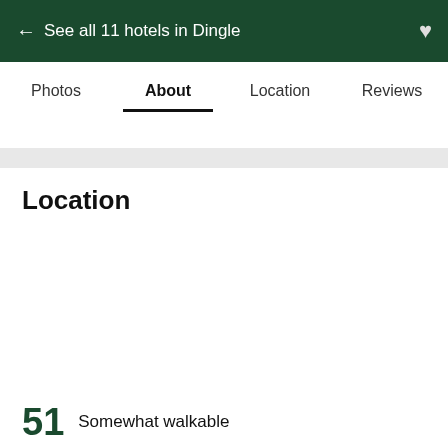← See all 11 hotels in Dingle
Photos  About  Location  Reviews
Location
51  Somewhat walkable